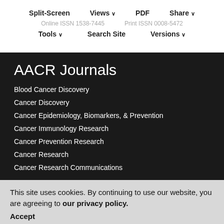Split-Screen  Views ∨  PDF  Share ∨
Online ISSN 1538-7445  Print ISSN 0008-5472
Tools ∨  Search Site  Versions ∨
AACR Journals
Blood Cancer Discovery
Cancer Discovery
Cancer Epidemiology, Biomarkers, & Prevention
Cancer Immunology Research
Cancer Prevention Research
Cancer Research
Cancer Research Communications
Clinical Cancer Research
Molecular Cancer Research
Molecular Cancer Therapeutics
This site uses cookies. By continuing to use our website, you are agreeing to our privacy policy. Accept